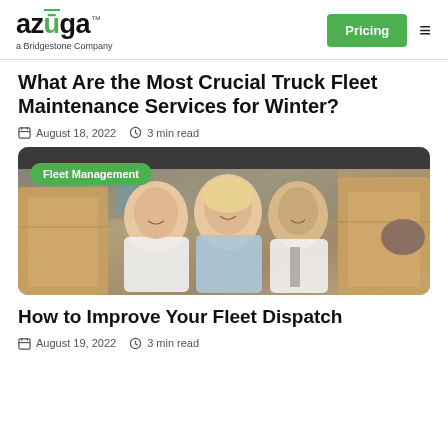azuga - a Bridgestone Company | Pricing | Menu
What Are the Most Crucial Truck Fleet Maintenance Services for Winter?
August 18, 2022  3 min read
[Figure (photo): Three people (two men and a woman in a light blue shirt) smiling among cardboard boxes in a warehouse/truck setting, with a 'Fleet Management' badge overlay]
How to Improve Your Fleet Dispatch
August 19, 2022  3 min read